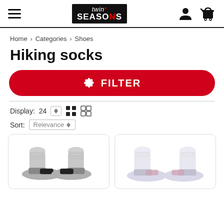twin SEASONS — navigation header with hamburger menu, logo, user icon, cart icon
Home > Categories > Shoes
Hiking socks
⚙ FILTER
Display: 24  [grid view] [list view]
Sort: Relevance
[Figure (photo): Two grey hiking socks shown from the side against a white background]
[Figure (photo): Two light grey/white hiking socks shown from the side against a white background]